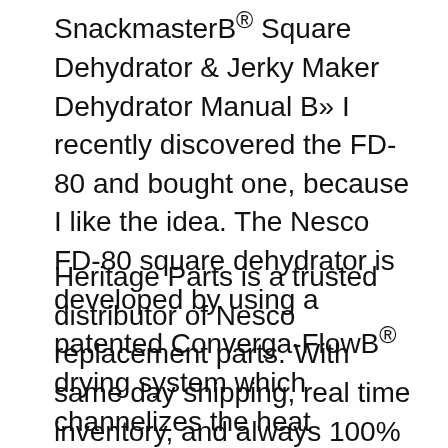SnackmasterB® Square Dehydrator & Jerky Maker Dehydrator Manual B» I recently discovered the FD-80 and bought one, because I like the idea. The Nesco FD-80 square dehydrator is developed by using a patented Converga-FlowB® drying system which channelizes the heat pressure and then distributes.
Heritage Parts is a trusted distributor of Nesco replacement parts. With same day shipping, real time inventory, and always 100% Genuine OEM parts, Heritage is your one stop destination for commercial kitchen replacement parts. Right Part, Right Time, Every Time! Food Dehydrator Clean Tested 5 Trays w Manual Nesco American Harvest Snackmaster Elite Food Dehydrator...